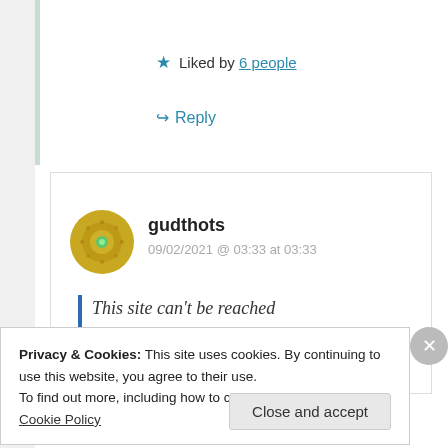★ Liked by 6 people
↪ Reply
gudthots
09/02/2021 @ 03:33 at 03:33
This site can't be reached
theqtree.com's DNS address
Privacy & Cookies: This site uses cookies. By continuing to use this website, you agree to their use.
To find out more, including how to control cookies, see here: Cookie Policy
Close and accept